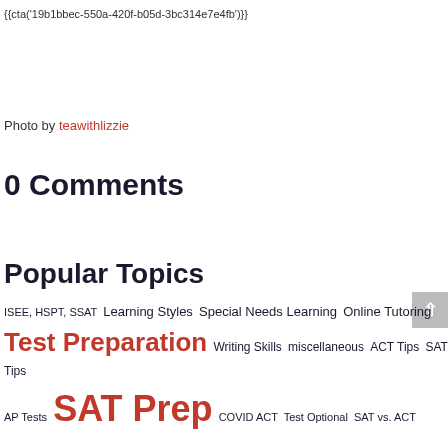{{cta('19b1bbec-550a-420f-b05d-3bc314e7e4fb')}}
Photo by teawithlizzie
0 Comments
Popular Topics
ISEE, HSPT, SSAT Learning Styles Special Needs Learning Online Tutoring Test Preparation Writing Skills miscellaneous ACT Tips SAT Tips AP Tests SAT Prep COVID ACT Test Optional SAT vs. ACT Educational Trends SAT Tutoring Wellness Free Proctored SAT and ACT Exams Test Prep- Math Educational Reference Financial Aid SAT, News